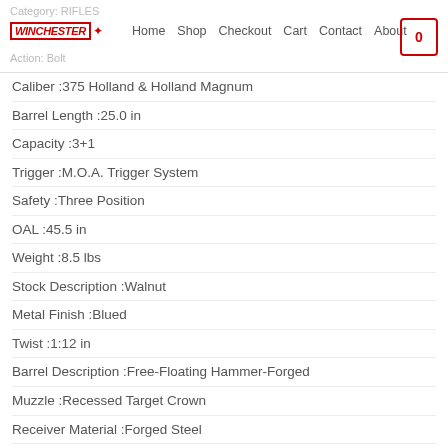Category: RIFLES | Action: Bolt | Home | Shop | Checkout | Cart | Contact | About | 0
Caliber :375 Holland & Holland Magnum
Barrel Length :25.0 in
Capacity :3+1
Trigger :M.O.A. Trigger System
Safety :Three Position
OAL :45.5 in
Weight :8.5 lbs
Stock Description :Walnut
Metal Finish :Blued
Twist :1:12 in
Barrel Description :Free-Floating Hammer-Forged
Muzzle :Recessed Target Crown
Receiver Material :Forged Steel
Sights :Adj Rear, Bead Front, Drilled/Tapped
Barrel Length Range :24.00 in to 25.99 in
Weight Range :8.00 lbs to 8.99 lbs